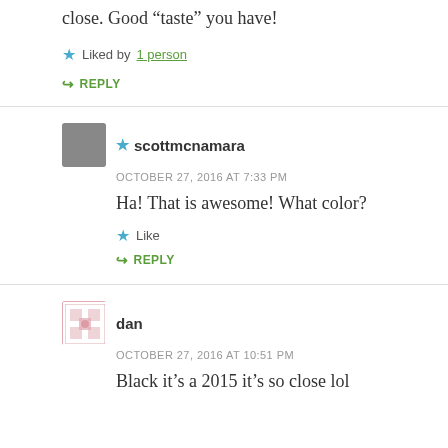close. Good “taste” you have!
★ Liked by 1 person
↳ REPLY
★ scottmcnamara
OCTOBER 27, 2016 AT 7:33 PM
Ha! That is awesome! What color?
★ Like
↳ REPLY
dan
OCTOBER 27, 2016 AT 10:51 PM
Black it’s a 2015 it’s so close lol